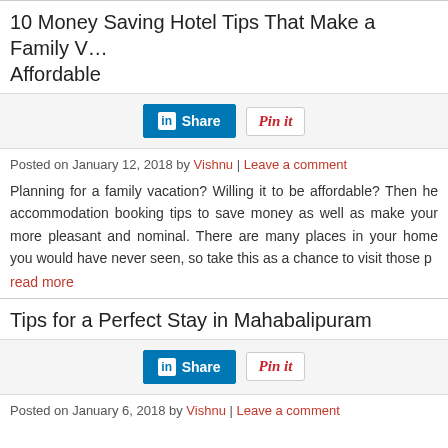10 Money Saving Hotel Tips That Make a Family Vacation Affordable
[Figure (other): Share bar with LinkedIn Share button and Pinterest Pin It button]
Posted on January 12, 2018 by Vishnu | Leave a comment
Planning for a family vacation? Willing it to be affordable? Then here are some accommodation booking tips to save money as well as make your vacation more pleasant and nominal. There are many places in your home... read more
Tips for a Perfect Stay in Mahabalipuram
[Figure (other): Share bar with LinkedIn Share button and Pinterest Pin It button]
Posted on January 6, 2018 by Vishnu | Leave a comment